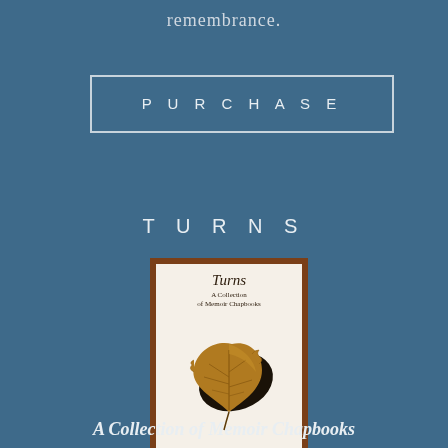remembrance.
PURCHASE
TURNS
[Figure (illustration): Book cover of 'Turns: A Collection of Memoir Chapbooks', edited by Cece Harris. Features a brown-framed white cover with an autumn leaf illustration and italic title text.]
A Collection of Memoir Chapbooks